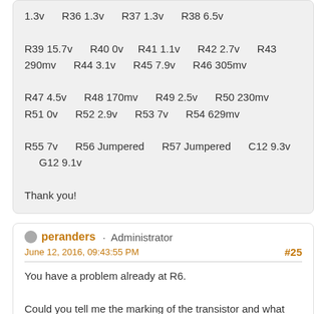1.3v    R36 1.3v    R37 1.3v    R38 6.5v

R39 15.7v    R40 0v    R41 1.1v    R42 2.7v    R43 290mv    R44 3.1v    R45 7.9v    R46 305mv

R47 4.5v    R48 170mv    R49 2.5v    R50 230mv    R51 0v    R52 2.9v    R53 7v    R54 629mv

R55 7v    R56 Jumpered    R57 Jumpered    C12 9.3v    G12 9.1v

Thank you!
peranders · Administrator
June 12, 2016, 09:43:55 PM
#25
You have a problem already at R6.

Could you tell me the marking of the transistor and what type and brand you have?